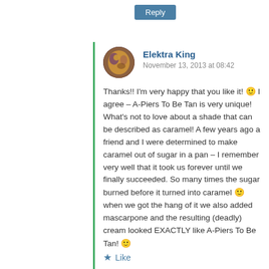Reply
Elektra King
November 13, 2013 at 08:42
Thanks!! I'm very happy that you like it! 🙂 I agree – A-Piers To Be Tan is very unique! What's not to love about a shade that can be described as caramel! A few years ago a friend and I were determined to make caramel out of sugar in a pan – I remember very well that it took us forever until we finally succeeded. So many times the sugar burned before it turned into caramel 🙂 when we got the hang of it we also added mascarpone and the resulting (deadly) cream looked EXACTLY like A-Piers To Be Tan! 🙂
Like